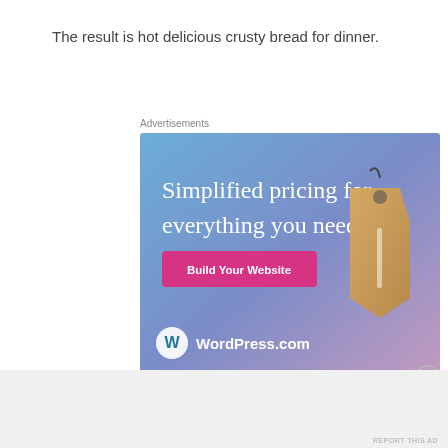The result is hot delicious crusty bread for dinner.
Advertisements
[Figure (illustration): WordPress.com advertisement showing 'Simplified pricing for everything you need.' with a price tag graphic, a 'Build Your Website' button, and WordPress.com logo on a blue-to-purple gradient background.]
REPORT THIS AD
Advertisements
REPORT THIS AD